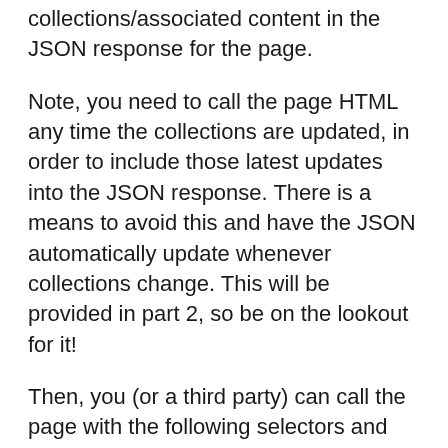collections/associated content in the JSON response for the page.
Note, you need to call the page HTML any time the collections are updated, in order to include those latest updates into the JSON response. There is a means to avoid this and have the JSON automatically update whenever collections change. This will be provided in part 2, so be on the lookout for it!
Then, you (or a third party) can call the page with the following selectors and extension: model.tidy.json. DAM collections are referenced via the component and included in the JSON representation of the page's content! A